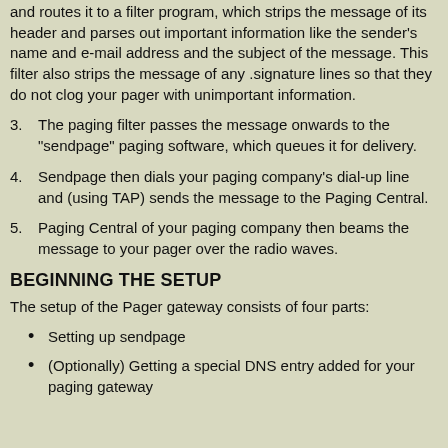and routes it to a filter program, which strips the message of its header and parses out important information like the sender's name and e-mail address and the subject of the message. This filter also strips the message of any .signature lines so that they do not clog your pager with unimportant information.
3. The paging filter passes the message onwards to the "sendpage" paging software, which queues it for delivery.
4. Sendpage then dials your paging company's dial-up line and (using TAP) sends the message to the Paging Central.
5. Paging Central of your paging company then beams the message to your pager over the radio waves.
BEGINNING THE SETUP
The setup of the Pager gateway consists of four parts:
Setting up sendpage
(Optionally) Getting a special DNS entry added for your paging gateway